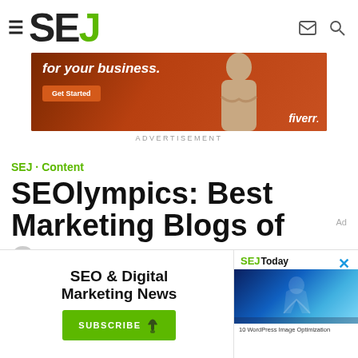≡ SEJ (logo) [mail icon] [search icon]
[Figure (illustration): Fiverr advertisement banner with orange/brown background, woman in turtleneck, text 'for your business.', Get Started button, and Fiverr logo]
ADVERTISEMENT
SEJ · Content
SEOlympics: Best Marketing Blogs of Ca...
Ad
[Figure (screenshot): Popup newsletter subscription overlay with 'SEO & Digital Marketing News' text, green SUBSCRIBE button with cursor icon on left; SEJToday panel on right with athlete image and '10 WordPress Image Optimization' caption. X close button top right.]